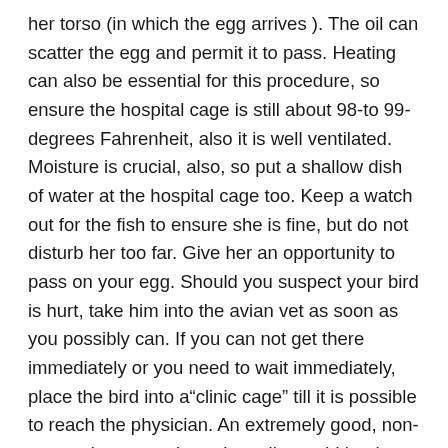her torso (in which the egg arrives ). The oil can scatter the egg and permit it to pass. Heating can also be essential for this procedure, so ensure the hospital cage is still about 98-to 99-degrees Fahrenheit, also it is well ventilated. Moisture is crucial, also, so put a shallow dish of water at the hospital cage too. Keep a watch out for the fish to ensure she is fine, but do not disturb her too far. Give her an opportunity to pass on your egg. Should you suspect your bird is hurt, take him into the avian vet as soon as you possibly can. If you can not get there immediately or you need to wait immediately, place the bird into a“clinic cage” till it is possible to reach the physician. An extremely good, non-traumatic approach to trim nails would be that the“creep up” process. Hold your bird in your hands and speak to him at an animated way to divert him. Then, sneak up onto the initial tip of a single nail and clip off it immediately then turn round or do something to divert the bird out of the simple fact that you did this. It is